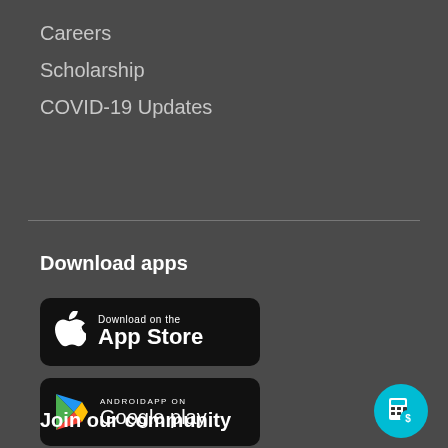Careers
Scholarship
COVID-19 Updates
Download apps
[Figure (logo): Download on the App Store button - black rounded rectangle with Apple logo and text 'Download on the App Store']
[Figure (logo): Android app on Google play button - black rounded rectangle with Google Play logo and text 'ANDROIDAPP ON Google play']
Join our community
[Figure (illustration): Teal/cyan circular button with a calculator and dollar sign icon]